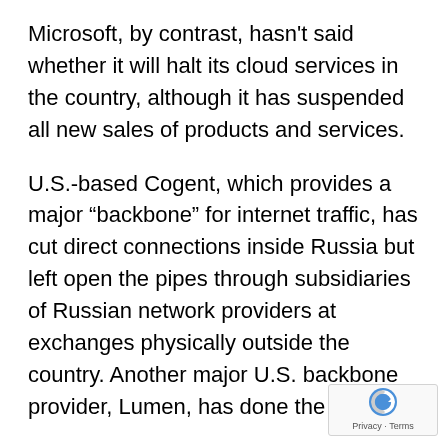Microsoft, by contrast, hasn't said whether it will halt its cloud services in the country, although it has suspended all new sales of products and services.
U.S.-based Cogent, which provides a major “backbone” for internet traffic, has cut direct connections inside Russia but left open the pipes through subsidiaries of Russian network providers at exchanges physically outside the country. Another major U.S. backbone provider, Lumen, has done the same.
“We have no desire to cut off Russian individuals and think that an open internet is critical to the world,” Cogent CEO Dave Schaeffer said in an interview. Direct connections to servers inside Russia, he said, could potentially “be offensive cyber efforts by the Russian government.”